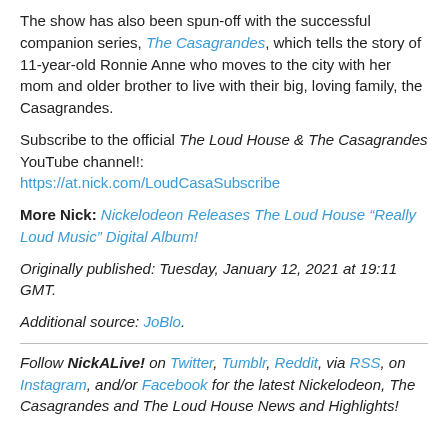The show has also been spun-off with the successful companion series, The Casagrandes, which tells the story of 11-year-old Ronnie Anne who moves to the city with her mom and older brother to live with their big, loving family, the Casagrandes.
Subscribe to the official The Loud House & The Casagrandes YouTube channel!: https://at.nick.com/LoudCasaSubscribe
More Nick: Nickelodeon Releases The Loud House “Really Loud Music” Digital Album!
Originally published: Tuesday, January 12, 2021 at 19:11 GMT.
Additional source: JoBlo.
Follow NickALive! on Twitter, Tumblr, Reddit, via RSS, on Instagram, and/or Facebook for the latest Nickelodeon, The Casagrandes and The Loud House News and Highlights!